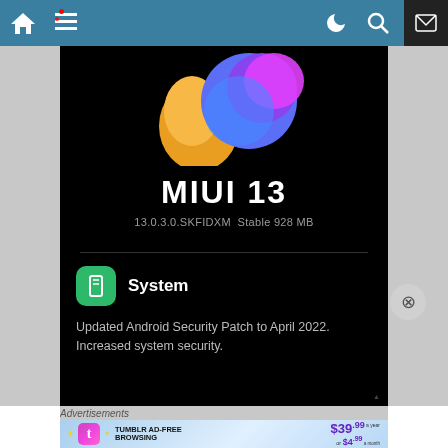[Figure (screenshot): Website navigation bar with home icon, hamburger menu, moon/dark mode icon, search icon, and mail icon on a teal/blue background]
[Figure (screenshot): MIUI 13 update screen on black background showing MIUI 13 logo at top, version 13.0.3.0.SKFIDXM Stable 928 MB, a System update section with green icon, and description: Updated Android Security Patch to April 2022. Increased system security.]
Advertisements
[Figure (photo): Tumblr ad-free browsing advertisement banner showing $39.99 a year or $4.99 a month pricing with Tumblr logo]